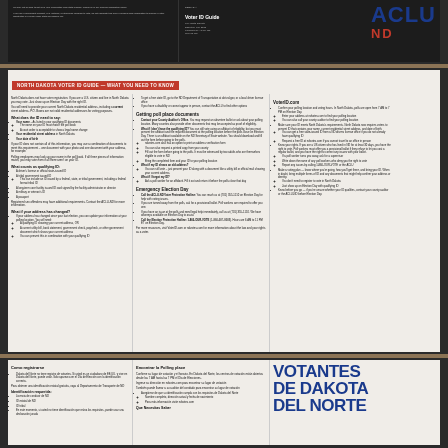Top left column text - North Dakota voter guide content
ACLU ND header information with date and case details
[Figure (logo): ACLU ND logo in blue and red]
Getting poll place documents
Bullet points about voter ID and polling place documents
Emergency Election Day
Voter ID.com
Information about voter ID requirements
[Figure (infographic): VOTE LIKE YOUR RIGHTS DEPEND ON IT banner in dark blue with red VOTE text]
Como registrarse
Encontrar la Polling place
Que Necesitas Saber
[Figure (infographic): VOTANTES DE DAKOTA DEL NORTE large text in blue]